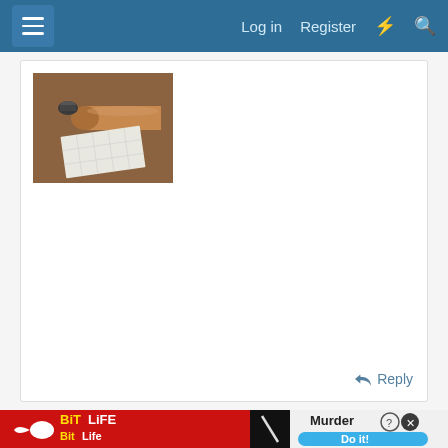Log in  Register
[Figure (photo): A brown cardboard craft paper tube roll with a small lens cap or cap beside it, and a sheet of white square stickers/labels on a brown background]
Reply